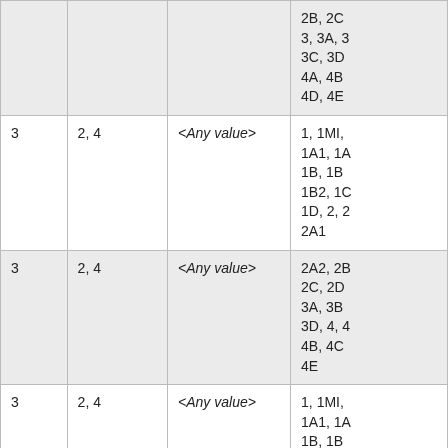|  |  |  | 2B, 2C
3, 3A, 3
3C, 3D
4A, 4B
4D, 4E |
| 3 | 2,  4 | <Any value> | 1, 1MI,
1A1, 1A
1B, 1B
1B2, 1C
1D, 2, 2
2A1 |
| 3 | 2,  4 | <Any value> | 2A2, 2B
2C, 2D
3A, 3B
3D, 4, 4
4B, 4C
4E |
| 3 | 2,  4 | <Any value> | 1, 1MI,
1A1, 1A
1B, 1B
1B2, 1C |